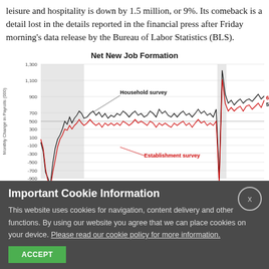leisure and hospitality is down by 1.5 million, or 9%. Its comeback is a detail lost in the details reported in the financial press after Friday morning's data release by the Bureau of Labor Statistics (BLS).
[Figure (line-chart): Line chart showing Net New Job Formation with two series: Household survey (black line) and Establishment survey (red line). Y-axis ranges from about -1,300 to 1,300. Recent values annotated: 678 (red) and 548 (black). Recession shading shown as grey bands.]
Important Cookie Information
This website uses cookies for navigation, content delivery and other functions. By using our website you agree that we can place cookies on your device. Please read our cookie policy for more information.